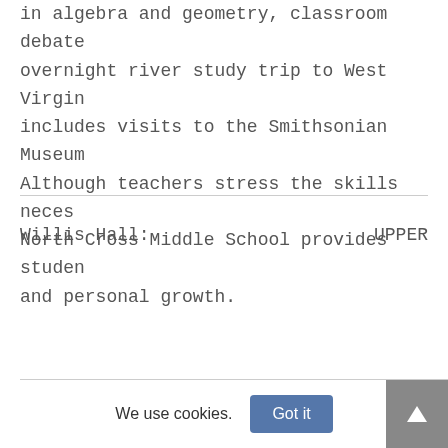in algebra and geometry, classroom debate overnight river study trip to West Virginia includes visits to the Smithsonian Museum. Although teachers stress the skills necessary, North Cross Middle School provides students and personal growth.
Willis Hall:    UPPER